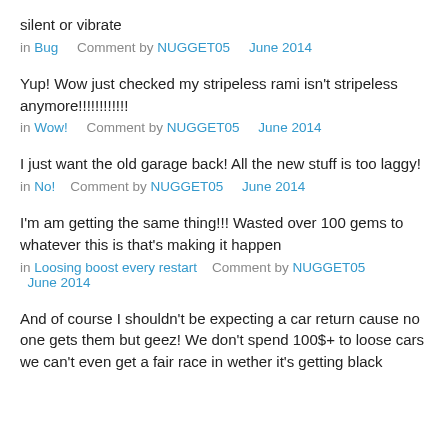silent or vibrate
in Bug   Comment by NUGGET05   June 2014
Yup! Wow just checked my stripeless rami isn't stripeless anymore!!!!!!!!!!!
in Wow!   Comment by NUGGET05   June 2014
I just want the old garage back! All the new stuff is too laggy!
in No!   Comment by NUGGET05   June 2014
I'm am getting the same thing!!! Wasted over 100 gems to whatever this is that's making it happen
in Loosing boost every restart   Comment by NUGGET05   June 2014
And of course I shouldn't be expecting a car return cause no one gets them but geez! We don't spend 100$+ to loose cars we can't even get a fair race in wether it's getting black